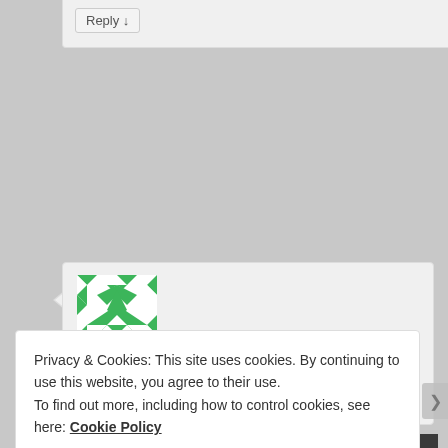Reply ↓
[Figure (illustration): Green and white geometric quilt-pattern avatar image for user maehara]
maehara on March 23, 2009 at 11:49 am said:
I reviewed Phantom of Inferno way back when,
Privacy & Cookies: This site uses cookies. By continuing to use this website, you agree to their use.
To find out more, including how to control cookies, see here: Cookie Policy
Close and accept